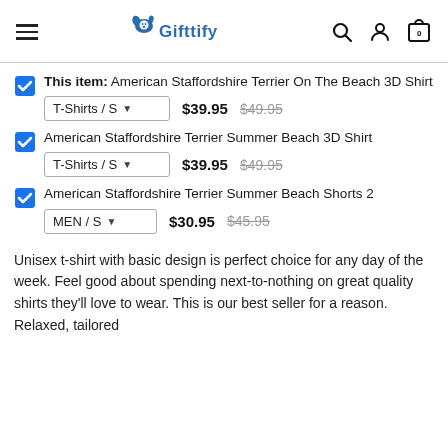Gifttify
This item: American Staffordshire Terrier On The Beach 3D Shirt | T-Shirts / S | $39.95 | $49.95
American Staffordshire Terrier Summer Beach 3D Shirt | T-Shirts / S | $39.95 | $49.95
American Staffordshire Terrier Summer Beach Shorts 2 | MEN / S | $30.95 | $45.95
Unisex t-shirt with basic design is perfect choice for any day of the week. Feel good about spending next-to-nothing on great quality shirts they'll love to wear. This is our best seller for a reason. Relaxed, tailored